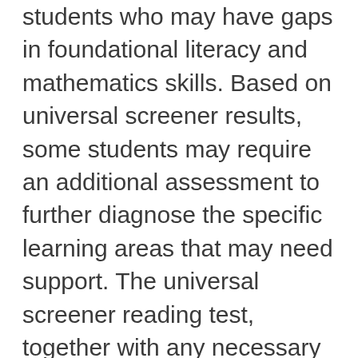students who may have gaps in foundational literacy and mathematics skills. Based on universal screener results, some students may require an additional assessment to further diagnose the specific learning areas that may need support. The universal screener reading test, together with any necessary follow-up diagnostic assessments, also fulfills state testing expectations for primary students. This universal screener and any necessary follow-up assessments will be given at the beginning of the school year. Depending on grade level and previous screener performance, students may receive screening again in the winter and/or in the spring. Additional information, including a short video,